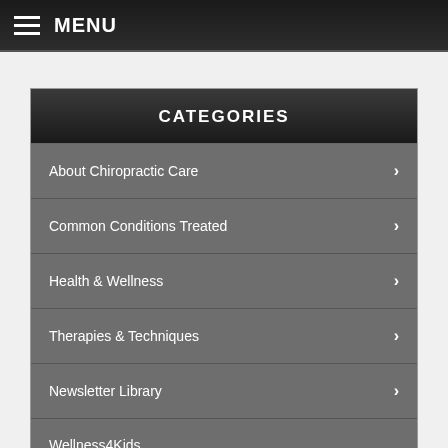MENU
CATEGORIES
About Chiropractic Care
Common Conditions Treated
Health & Wellness
Therapies & Techniques
Newsletter Library
Wellness4Kids